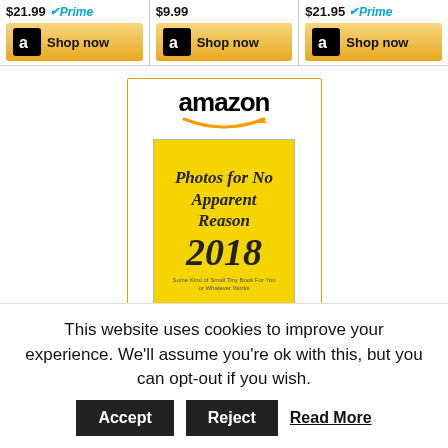[Figure (screenshot): Top row of three Amazon product ads showing prices $21.99 with Prime, $9.99, and $21.95 with Prime, each with a Shop now button]
[Figure (screenshot): Amazon ad widget showing book 'Photos for No Apparent Reason 2018' priced at $9.99 with Shop now button]
This website uses cookies to improve your experience. We'll assume you're ok with this, but you can opt-out if you wish. Accept Reject Read More